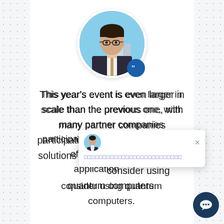[Figure (photo): Circular profile photo of a man wearing glasses and a suit, with a blue quote badge overlay in the bottom-right of the circle. Background shows a cityscape.]
This year's event is even larger in scale than the previous one, with many partner companies participating, offering a full range of solutions and applications to consider using quantum computers.
[Figure (screenshot): A small popup/notification overlay showing a small avatar photo of a man, a close (×) button, and a line of text in Japanese/CJK characters.]
[Figure (illustration): Dark navy circular chat/messenger button in the bottom-right corner with a speech bubble icon.]